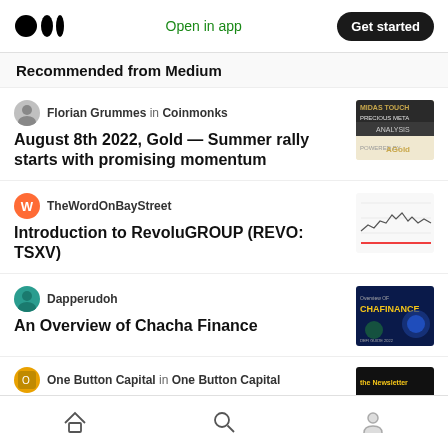Open in app | Get started
Recommended from Medium
Florian Grummes in Coinmonks
August 8th 2022, Gold — Summer rally starts with promising momentum
[Figure (screenshot): Midas Touch Precious Metal Analysis thumbnail image]
TheWordOnBayStreet
Introduction to RevoluGROUP (REVO: TSXV)
[Figure (screenshot): Stock chart line graph thumbnail image]
Dapperudoh
An Overview of Chacha Finance
[Figure (screenshot): Chacha Finance blue digital thumbnail image]
One Button Capital in One Button Capital
[Figure (screenshot): The Newsletter thumbnail image]
Home | Search | Profile